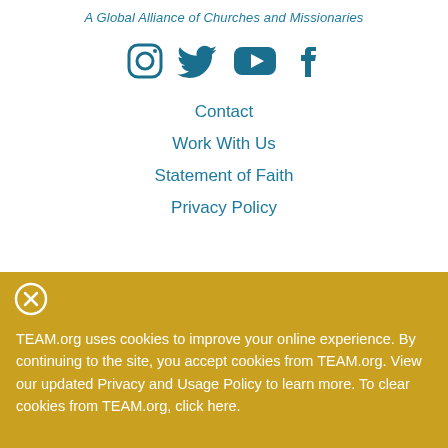A Global Alliance of Churches and Missionaries
[Figure (illustration): Four social media icons: Instagram, Twitter, YouTube, Facebook in teal/dark blue color]
Contact
Work With Us
Statement of Faith
Privacy Policy
TEAM.org uses cookies to improve your online experience. By continuing to the site, you accept cookies from TEAM.org. View our updated Privacy and Usage Policy to learn more. To clear cookies from TEAM.org, click here.